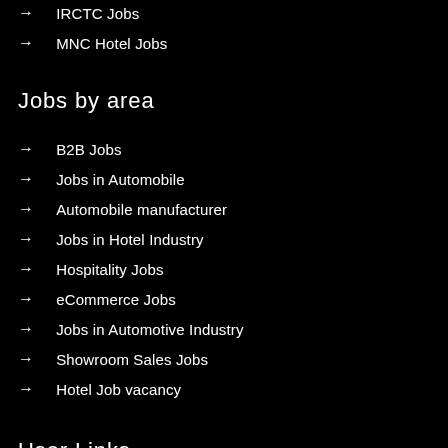→ IRCTC Jobs
→ MNC Hotel Jobs
Jobs by area
→ B2B Jobs
→ Jobs in Automobile
→ Automobile manufacturer
→ Jobs in Hotel Industry
→ Hospitality Jobs
→ eCommerce Jobs
→ Jobs in Automotive Industry
→ Showroom Sales Jobs
→ Hotel Job vacancy
User Links